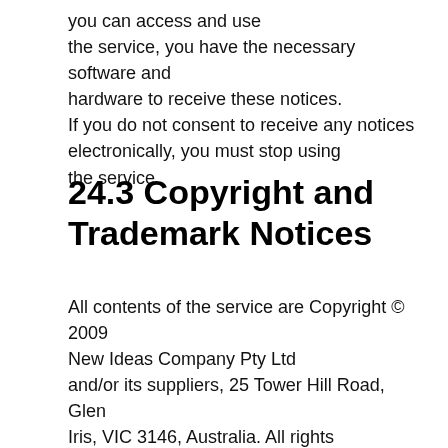you can access and use the service, you have the necessary software and hardware to receive these notices. If you do not consent to receive any notices electronically, you must stop using the service.
24.3 Copyright and Trademark Notices
All contents of the service are Copyright © 2009 New Ideas Company Pty Ltd and/or its suppliers, 25 Tower Hill Road, Glen Iris, VIC 3146, Australia. All rights reserved. Copyright and other intellectual property laws and treaties protect any software or content provided as part of the